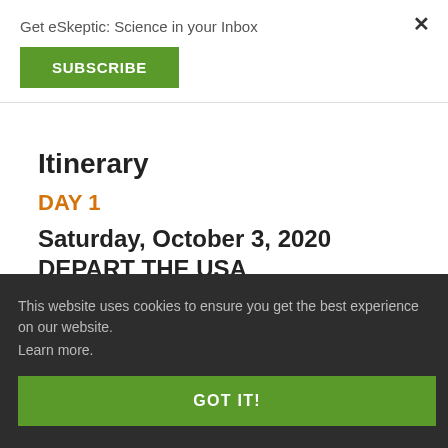Get eSkeptic: Science in your Inbox
SUBSCRIBE
Itinerary
DAY 1
Saturday, October 3, 2020
DEPART THE USA
This website uses cookies to ensure you get the best experience on our website.
Learn more.
GOT IT!